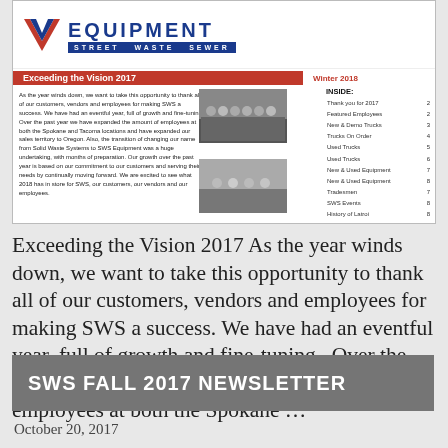[Figure (screenshot): SWS Equipment newsletter preview showing header with logo, 'Exceeding the Vision 2017' headline, Winter 2018 issue, inside contents list, body text, and two group photos]
Exceeding the Vision 2017 As the year winds down, we want to take this opportunity to thank all of our customers, vendors and employees for making SWS a success. We have had an eventful year, full of growth and fine-tuning.  Over the past year we have expanded the amount of employees at both the Spokane …
Continued
SWS FALL 2017 NEWSLETTER
October 20, 2017